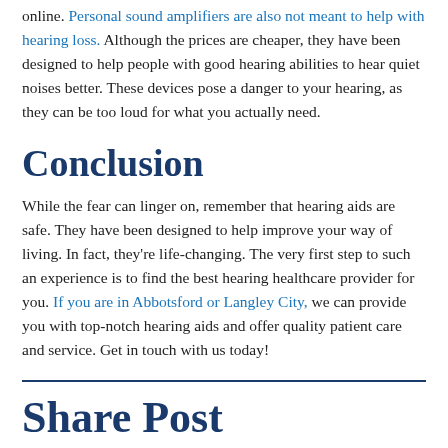online. Personal sound amplifiers are also not meant to help with hearing loss. Although the prices are cheaper, they have been designed to help people with good hearing abilities to hear quiet noises better. These devices pose a danger to your hearing, as they can be too loud for what you actually need.
Conclusion
While the fear can linger on, remember that hearing aids are safe. They have been designed to help improve your way of living. In fact, they're life-changing. The very first step to such an experience is to find the best hearing healthcare provider for you. If you are in Abbotsford or Langley City, we can provide you with top-notch hearing aids and offer quality patient care and service. Get in touch with us today!
Share Post